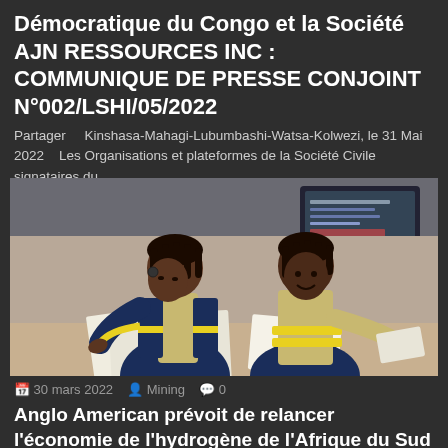Démocratique du Congo et la Société AJN RESSOURCES INC : COMMUNIQUE DE PRESSE CONJOINT N°002/LSHI/05/2022
Partager   Kinshasa-Mahagi-Lubumbashi-Watsa-Kolwezi, le 31 Mai 2022   Les Organisations et plateformes de la Société Civile signataires du...
[Figure (photo): Two women wearing blue and yellow high-visibility mining uniforms, looking at documents together at a desk. A computer monitor is visible in the background.]
30 mars 2022   Mining   0
Anglo American prévoit de relancer l'économie de l'hydrogène de l'Afrique du Sud